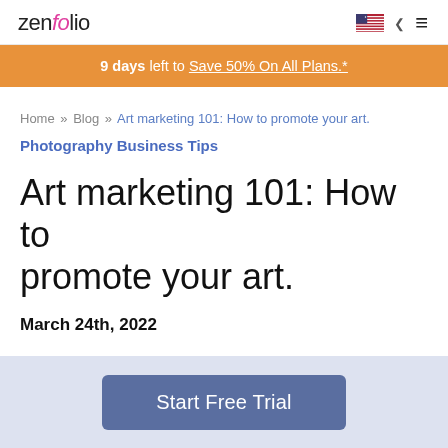zenfolio
9 days left to Save 50% On All Plans.*
Home » Blog » Art marketing 101: How to promote your art.
Photography Business Tips
Art marketing 101: How to promote your art.
March 24th, 2022
Start Free Trial